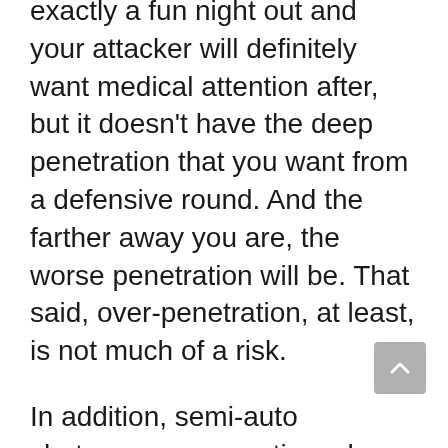exactly a fun night out and your attacker will definitely want medical attention after, but it doesn't have the deep penetration that you want from a defensive round. And the farther away you are, the worse penetration will be. That said, over-penetration, at least, is not much of a risk.
In addition, semi-auto shotguns can sometimes have problems cycling birdshot.
Buckshot
Buckshot cartridges are the more